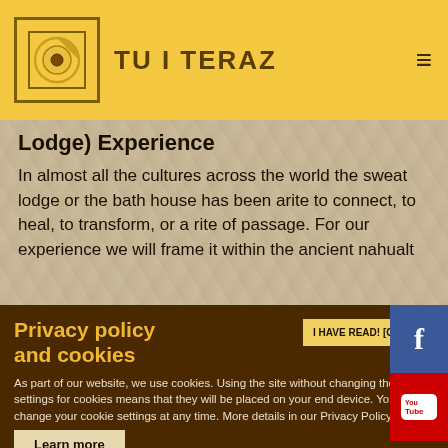TU I TERAZ
Lodge) Experience
In almost all the cultures across the world the sweat lodge or the bath house has been arite to connect, to heal, to transform, or a rite of passage. For our experience we will frame it within the ancient nahualt
Privacy policy and cookies
As part of our website, we use cookies. Using the site without changing the settings for cookies means that they will be placed on your end device. You can change your cookie settings at any time. More details in our Privacy Policy.
Learn more